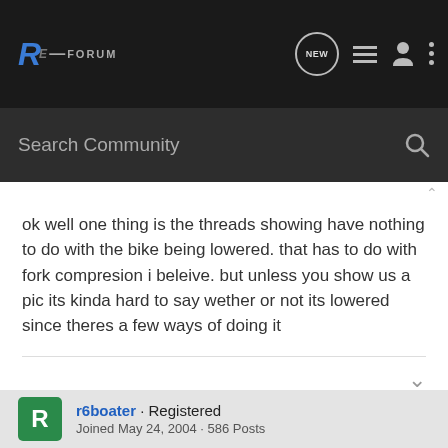RE: Forum — navigation bar with logo, NEW, list, user, and more icons; Search Community bar
ok well one thing is the threads showing have nothing to do with the bike being lowered. that has to do with fork compresion i beleive. but unless you show us a pic its kinda hard to say wether or not its lowered since theres a few ways of doing it
r6boater · Registered
Joined May 24, 2004 · 586 Posts